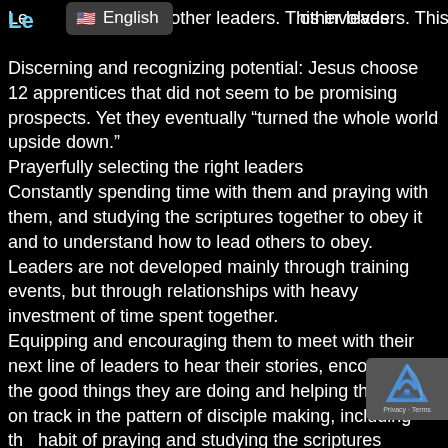Le... other leaders. This involves:
Discerning and recognizing potential: Jesus choose 12 apprentices that did not seem to be promising prospects. Yet they eventually “turned the whole world upside down.”
Prayerfully selecting the right leaders
Constantly spending time with them and praying with them, and studying the scriptures together to obey it and to understand how to lead others to obey. Leaders are not developed mainly through training events, but through relationships with heavy investment of time spent together.
Equipping and encouraging them to meet with their next line of leaders to hear their stories, encourage the good things they are doing and helping them stay on track in the pattern of disciple making, including the habit of praying and studying the scriptures together.